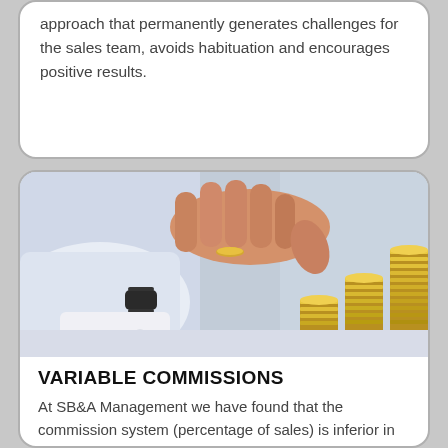approach that permanently generates challenges for the sales team, avoids habituation and encourages positive results.
[Figure (photo): A person in business shirt and watch placing a coin on top of stacks of gold coins, with taller stacks representing growth.]
VARIABLE COMMISSIONS
At SB&A Management we have found that the commission system (percentage of sales) is inferior in its ability to generate results than a